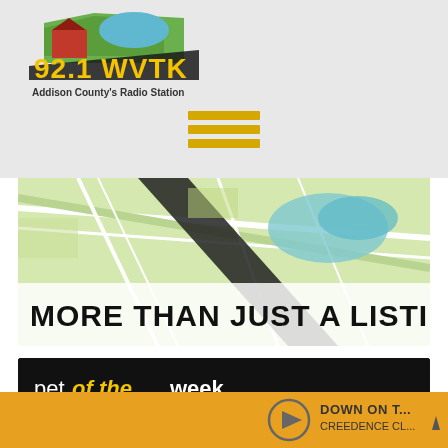[Figure (logo): 92.1 WVTK radio station logo with barn and landscape, tagline: Addison County's Radio Station]
[Figure (other): Three horizontal orange hamburger menu lines]
[Figure (map): Street map background with road and text MORE THAN JUST A LISTING]
[Figure (infographic): Pet of the week advertisement: black background, cat photo in green circle, Find your new forever friend today!, Waitsfield Telecom Champlain Valley logo, Go! button]
[Figure (other): Now playing bar: DOWN ON T... CREEDENCE CL... with play button and up arrow on orange background]